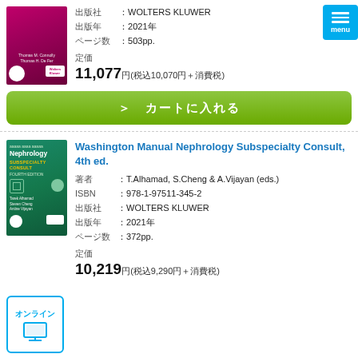出版社　　：WOLTERS KLUWER
出版年　　：2021年
ページ数　：503pp.
定価
11,077円(税込10,070円＋消費税)
＞　カートに入れる
Washington Manual Nephrology Subspecialty Consult, 4th ed.
著者　　　：T.Alhamad, S.Cheng & A.Vijayan (eds.)
ISBN　　　：978-1-97511-345-2
出版社　　：WOLTERS KLUWER
出版年　　：2021年
ページ数　：372pp.
定価
10,219円(税込9,290円＋消費税)
[Figure (other): オンライン button with monitor icon]